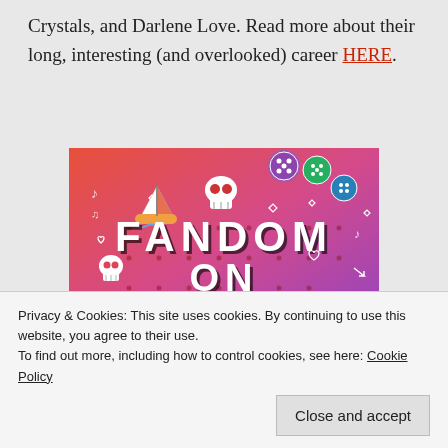Crystals, and Darlene Love. Read more about their long, interesting (and overlooked) career HERE.
[Figure (illustration): Colorful promotional banner with orange-to-purple gradient background, white doodle illustrations (skull, sailboat, music notes, arrows), and text reading 'FANDOM ON tumblr']
Privacy & Cookies: This site uses cookies. By continuing to use this website, you agree to their use.
To find out more, including how to control cookies, see here: Cookie Policy
Close and accept
that grabs you right when the vocals start. Peace